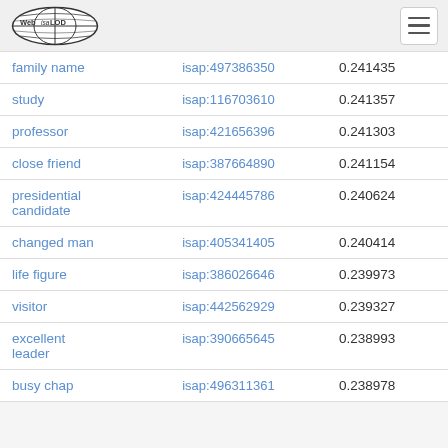Web isa LOD
| family name | isap:497386350 | 0.241435 |
| study | isap:116703610 | 0.241357 |
| professor | isap:421656396 | 0.241303 |
| close friend | isap:387664890 | 0.241154 |
| presidential candidate | isap:424445786 | 0.240624 |
| changed man | isap:405341405 | 0.240414 |
| life figure | isap:386026646 | 0.239973 |
| visitor | isap:442562929 | 0.239327 |
| excellent leader | isap:390665645 | 0.238993 |
| busy chap | isap:496311361 | 0.238978 |